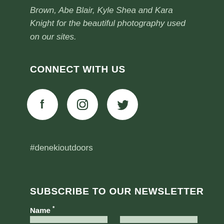Brown, Abe Blair, Kyle Shea and Kara Knight for the beautiful photography used on our sites.
CONNECT WITH US
[Figure (other): Three social media icon circles: Facebook (f), Instagram (camera), Twitter (bird)]
#denekioutdoors
SUBSCRIBE TO OUR NEWSLETTER
Name *